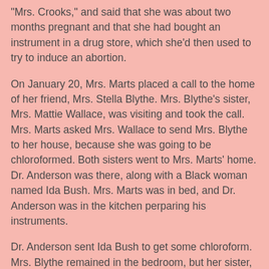"Mrs. Crooks," and said that she was about two months pregnant and that she had bought an instrument in a drug store, which she'd then used to try to induce an abortion.
On January 20, Mrs. Marts placed a call to the home of her friend, Mrs. Stella Blythe. Mrs. Blythe's sister, Mrs. Mattie Wallace, was visiting and took the call. Mrs. Marts asked Mrs. Wallace to send Mrs. Blythe to her house, because she was going to be chloroformed. Both sisters went to Mrs. Marts' home. Dr. Anderson was there, along with a Black woman named Ida Bush. Mrs. Marts was in bed, and Dr. Anderson was in the kitchen perparing his instruments.
Dr. Anderson sent Ida Bush to get some chloroform. Mrs. Blythe remained in the bedroom, but her sister, due to her "delicate condition," left the room. One of the women helped with administering the chloroform. Mrs. Blythe did not see all the details of what Dr. Anderson did, but noticed that he used two instruments. She took one to be a speculum, and described the other as about a foot long and similar to scissors. Dr. Anderson used water and cotton during the procedure, which took about fifteen minutes. Mrs. Blythe